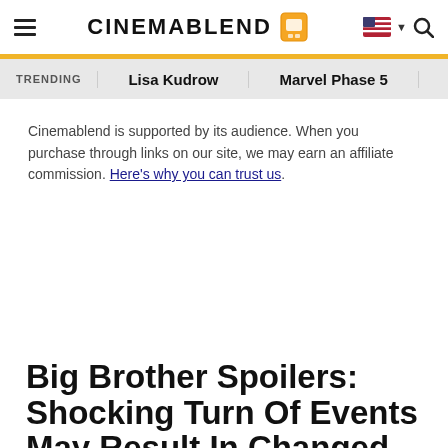CinemaBlend
TRENDING   Lisa Kudrow   Marvel Phase 5   Ja...
Cinemablend is supported by its audience. When you purchase through links on our site, we may earn an affiliate commission. Here's why you can trust us.
Big Brother Spoilers: Shocking Turn Of Events May Result In Changed